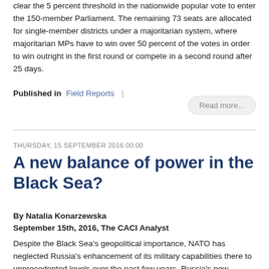clear the 5 percent threshold in the nationwide popular vote to enter the 150-member Parliament. The remaining 73 seats are allocated for single-member districts under a majoritarian system, where majoritarian MPs have to win over 50 percent of the votes in order to win outright in the first round or compete in a second round after 25 days.
Published in  Field Reports  |
Read more...
THURSDAY, 15 SEPTEMBER 2016 00:00
A new balance of power in the Black Sea?
By Natalia Konarzewska
September 15th, 2016, The CACI Analyst
Despite the Black Sea's geopolitical importance, NATO has neglected Russia's enhancement of its military capabilities there to unprecedented levels over the past few years. Russia's new military buildup in the Black Sea will allow it to project power into adjacent regions, and to compromise NATO's operational ability to protect its Black Sea riparian member states.